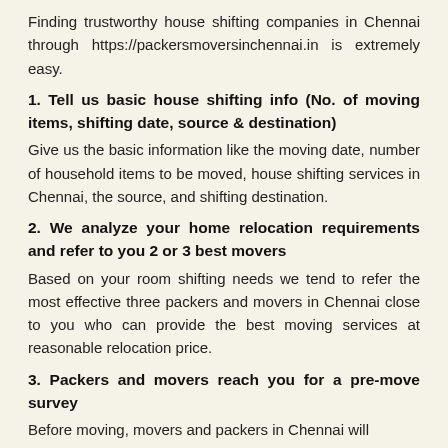Finding trustworthy house shifting companies in Chennai through https://packersmoversinchennai.in is extremely easy.
1. Tell us basic house shifting info (No. of moving items, shifting date, source & destination)
Give us the basic information like the moving date, number of household items to be moved, house shifting services in Chennai, the source, and shifting destination.
2. We analyze your home relocation requirements and refer to you 2 or 3 best movers
Based on your room shifting needs we tend to refer the most effective three packers and movers in Chennai close to you who can provide the best moving services at reasonable relocation price.
3. Packers and movers reach you for a pre-move survey
Before moving, movers and packers in Chennai will